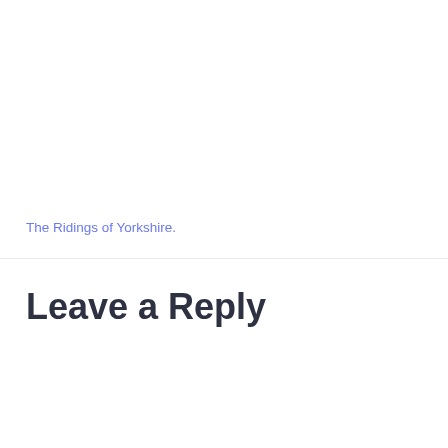The Ridings of Yorkshire.
Leave a Reply